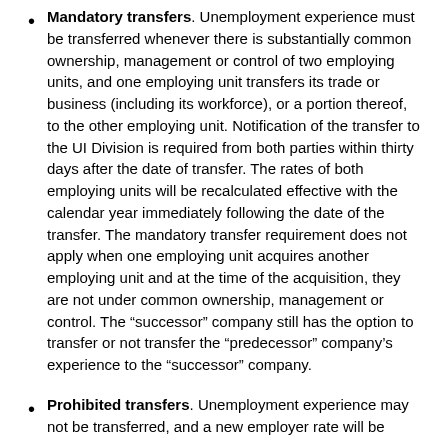Mandatory transfers. Unemployment experience must be transferred whenever there is substantially common ownership, management or control of two employing units, and one employing unit transfers its trade or business (including its workforce), or a portion thereof, to the other employing unit. Notification of the transfer to the UI Division is required from both parties within thirty days after the date of transfer. The rates of both employing units will be recalculated effective with the calendar year immediately following the date of the transfer. The mandatory transfer requirement does not apply when one employing unit acquires another employing unit and at the time of the acquisition, they are not under common ownership, management or control. The “successor” company still has the option to transfer or not transfer the “predecessor” company’s experience to the “successor” company.
Prohibited transfers. Unemployment experience may not be transferred, and a new employer rate will be